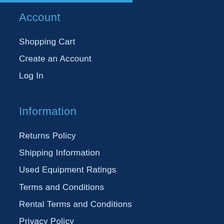Account
Shopping Cart
Create an Account
Log In
Information
Returns Policy
Shipping Information
Used Equipment Ratings
Terms and Conditions
Rental Terms and Conditions
Privacy Policy